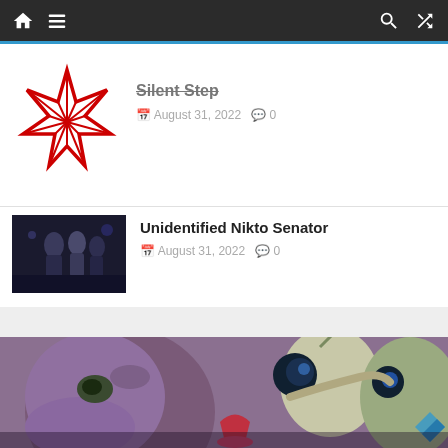Navigation bar with home, menu, search, and shuffle icons
[Figure (screenshot): Partial article listing: red seven-pointed star logo thumbnail with title 'Silent Step', date August 31, 2022, 0 comments]
Silent Step
August 31, 2022  0
[Figure (screenshot): Article listing: dark scene with armored figures thumbnail]
Unidentified Nikto Senator
August 31, 2022  0
[Figure (photo): Large image of animated alien creatures from Star Wars, purple/mauve colored amphibian-like being in foreground, others in background, partially cropped at bottom of page]